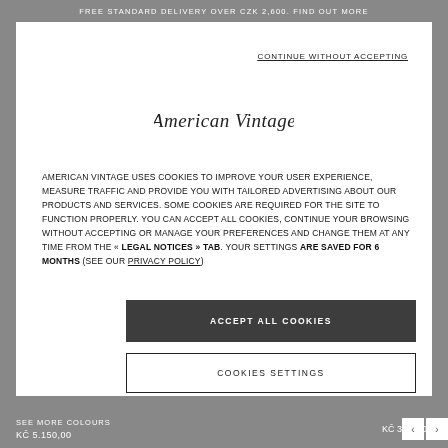FREE STANDARD DELIVERY OVER CZK 2,600. FIND OUT MORE
CONTINUE WITHOUT ACCEPTING
[Figure (logo): American Vintage cursive script logo]
AMERICAN VINTAGE USES COOKIES TO IMPROVE YOUR USER EXPERIENCE, MEASURE TRAFFIC AND PROVIDE YOU WITH TAILORED ADVERTISING ABOUT OUR PRODUCTS AND SERVICES. SOME COOKIES ARE REQUIRED FOR THE SITE TO FUNCTION PROPERLY. YOU CAN ACCEPT ALL COOKIES, CONTINUE YOUR BROWSING WITHOUT ACCEPTING OR MANAGE YOUR PREFERENCES AND CHANGE THEM AT ANY TIME FROM THE « LEGAL NOTICES » TAB. YOUR SETTINGS ARE SAVED FOR 6 MONTHS (SEE OUR PRIVACY POLICY)
ACCEPT ALL COOKIES
COOKIES SETTINGS
SEE MORE COLOURS
KČ 5.150,00
KČ 3.250,00